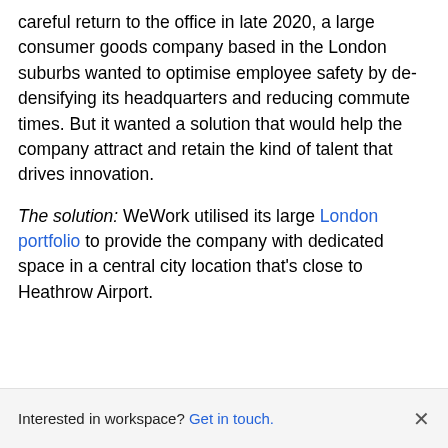careful return to the office in late 2020, a large consumer goods company based in the London suburbs wanted to optimise employee safety by de-densifying its headquarters and reducing commute times. But it wanted a solution that would help the company attract and retain the kind of talent that drives innovation.
The solution: WeWork utilised its large London portfolio to provide the company with dedicated space in a central city location that's close to Heathrow Airport.
Interested in workspace? Get in touch.